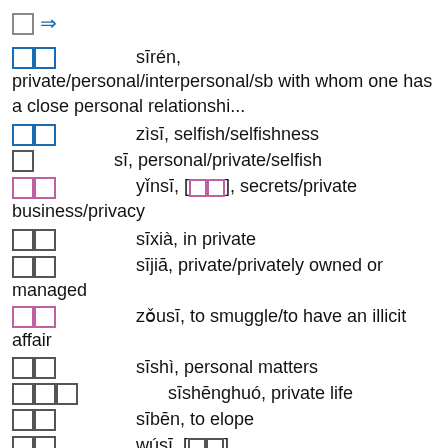□ ⇒
□□   sīrén, private/personal/interpersonal/sb with whom one has a close personal relationshi...
□□   zìsī, selfish/selfishness
□   sī, personal/private/selfish
□□   yǐnsī, [□□], secrets/private business/privacy
□□   sīxià, in private
□□   sījiā, private/privately owned or managed
□□   zǒusī, to smuggle/to have an illicit affair
□□   sīshì, personal matters
□□□   sīshēnghuó, private life
□□   sībēn, to elope
□□   wúsī, [□□], selfless/unselfish/disinterested/altruistic
□□   sīlì, private (company, school etc)